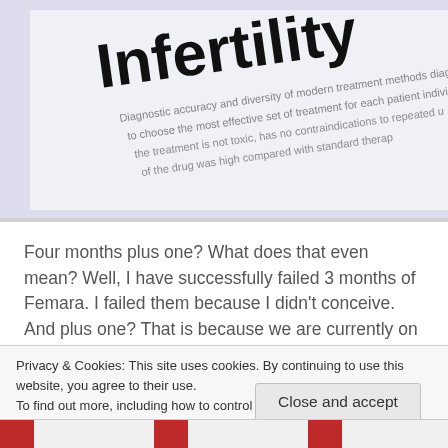[Figure (photo): Close-up photo of a document with the word 'Infertility' in bold black text, with partially visible body text about treatment methods below]
Four months plus one? What does that even mean? Well, I have successfully failed 3 months of Femara. I failed them because I didn't conceive. And plus one? That is because we are currently on our first cycle of the trigger shot. Whats the trigger shot? This shot is filled with HCG. It is...
Continue Reading →
Privacy & Cookies: This site uses cookies. By continuing to use this website, you agree to their use.
To find out more, including how to control cookies, see here: Cookie Policy
Close and accept